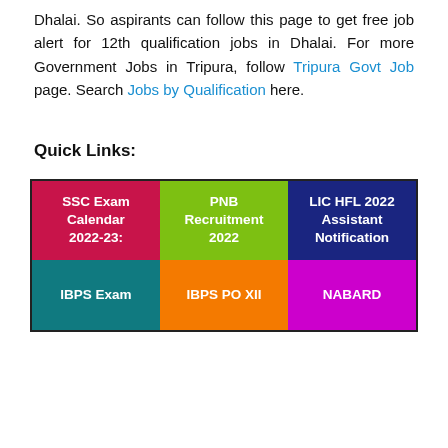Dhalai. So aspirants can follow this page to get free job alert for 12th qualification jobs in Dhalai. For more Government Jobs in Tripura, follow Tripura Govt Job page. Search Jobs by Qualification here.
Quick Links:
[Figure (infographic): 3x2 grid of quick link tiles: SSC Exam Calendar 2022-23 (crimson), PNB Recruitment 2022 (green), LIC HFL 2022 Assistant Notification (navy), IBPS Exam (teal), IBPS PO XII (orange), NABARD (magenta)]